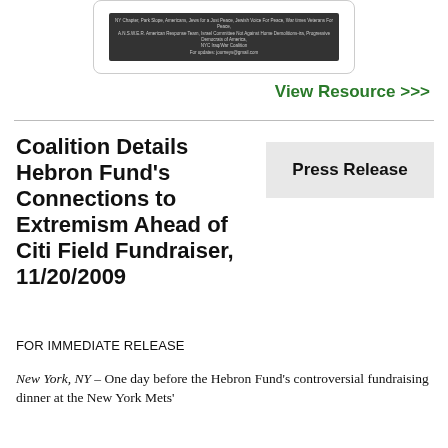[Figure (screenshot): Small screenshot of a flyer or event announcement with dark background and small text listing various organizations including NY Chapter, Park Slope, Americans, Jews for a Just Peace, Jewish Voice for Peace, and others]
View Resource >>>
Coalition Details Hebron Fund's Connections to Extremism Ahead of Citi Field Fundraiser, 11/20/2009
Press Release
FOR IMMEDIATE RELEASE
New York, NY – One day before the Hebron Fund's controversial fundraising dinner at the New York Mets'